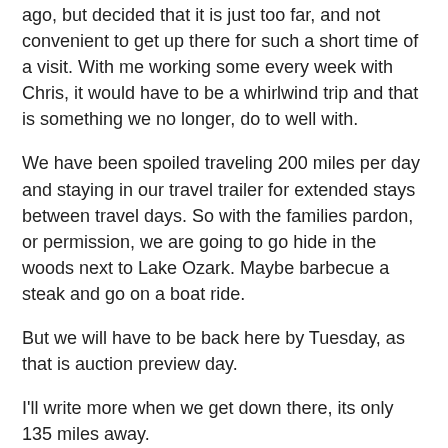ago, but decided that it is just too far, and not convenient to get up there for such a short time of a visit. With me working some every week with Chris, it would have to be a whirlwind trip and that is something we no longer, do to well with.
We have been spoiled traveling 200 miles per day and staying in our travel trailer for extended stays between travel days. So with the families pardon, or permission, we are going to go hide in the woods next to Lake Ozark. Maybe barbecue a steak and go on a boat ride.
But we will have to be back here by Tuesday, as that is auction preview day.
I'll write more when we get down there, its only 135 miles away.
Rod Ivers at 10:32 PM
No comments: